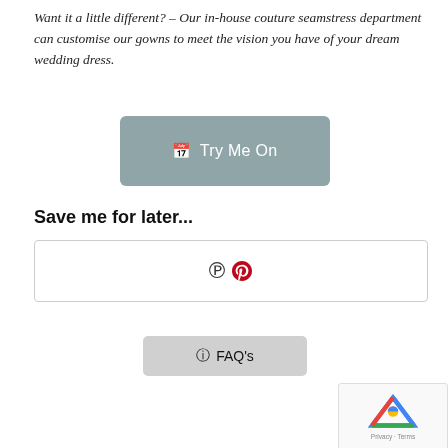Want it a little different? – Our in-house couture seamstress department can customise our gowns to meet the vision you have of your dream wedding dress.
[Figure (other): Button: calendar icon followed by 'Try Me On' text on a steel-blue/grey background]
Save me for later...
[Figure (other): Pinterest save box with Pinterest 'p' icon centred inside a bordered rectangle]
[Figure (other): Button: question-mark icon followed by FAQ's text on a light grey background]
[Figure (other): reCAPTCHA widget with Google logo and Privacy/Terms text]